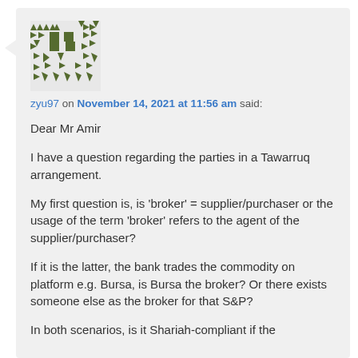zyu97 on November 14, 2021 at 11:56 am said:
Dear Mr Amir

I have a question regarding the parties in a Tawarruq arrangement.

My first question is, is ‘broker’ = supplier/purchaser or the usage of the term ‘broker’ refers to the agent of the supplier/purchaser?

If it is the latter, the bank trades the commodity on platform e.g. Bursa, is Bursa the broker? Or there exists someone else as the broker for that S&P?

In both scenarios, is it Shariah-compliant if the